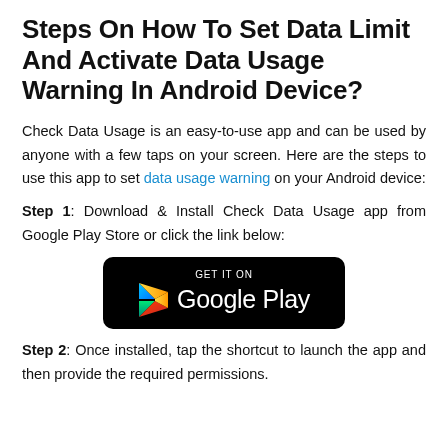Steps On How To Set Data Limit And Activate Data Usage Warning In Android Device?
Check Data Usage is an easy-to-use app and can be used by anyone with a few taps on your screen. Here are the steps to use this app to set data usage warning on your Android device:
Step 1: Download & Install Check Data Usage app from Google Play Store or click the link below:
[Figure (logo): GET IT ON Google Play button badge with Google Play triangle logo on black rounded rectangle background]
Step 2: Once installed, tap the shortcut to launch the app and then provide the required permissions.